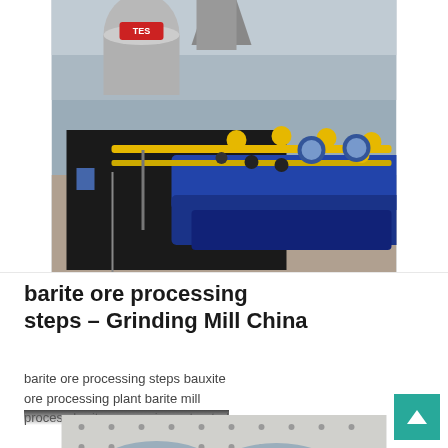[Figure (photo): Industrial equipment showing blue cylinders with yellow pipe fittings and valves, cooling tower in background, inside a warehouse or factory setting.]
barite ore processing steps – Grinding Mill China
barite ore processing steps bauxite ore processing plant barite mill process barite processing extracted
[Figure (photo): Exterior view of industrial machinery or building components, showing corrugated/perforated panels and cylindrical containers.]